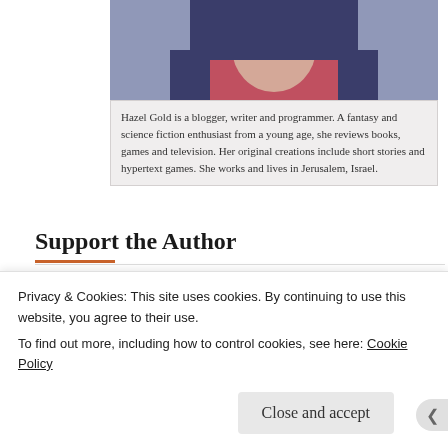[Figure (photo): Partial view of a person's face/jacket — author photo cropped at top]
Hazel Gold is a blogger, writer and programmer. A fantasy and science fiction enthusiast from a young age, she reviews books, games and television. Her original creations include short stories and hypertext games. She works and lives in Jerusalem, Israel.
Support the Author
[Figure (other): Buy Me a Coffee button — teal rounded rectangle with coffee cup icon]
[Figure (other): Become a Patron button — orange/red rectangle with Patreon icon]
Privacy & Cookies: This site uses cookies. By continuing to use this website, you agree to their use.
To find out more, including how to control cookies, see here: Cookie Policy
Close and accept